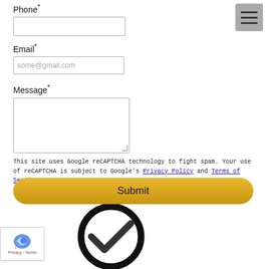Phone*
[Figure (screenshot): Empty phone input field]
Email*
[Figure (screenshot): Email input field with placeholder 'some@gmail.com']
Message*
[Figure (screenshot): Empty textarea for message]
This site uses Google reCAPTCHA technology to fight spam. Your use of reCAPTCHA is subject to Google's Privacy Policy and Terms of Service.
[Figure (screenshot): Yellow Submit button]
[Figure (illustration): Large circle with a checkmark inside, black outline]
[Figure (logo): Google reCAPTCHA badge with Privacy and Terms links]